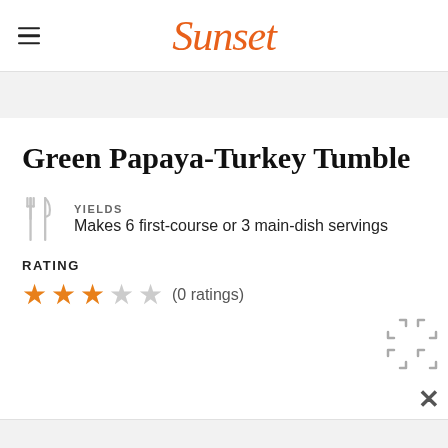Sunset
Green Papaya-Turkey Tumble
YIELDS
Makes 6 first-course or 3 main-dish servings
RATING
★★★☆☆ (0 ratings)